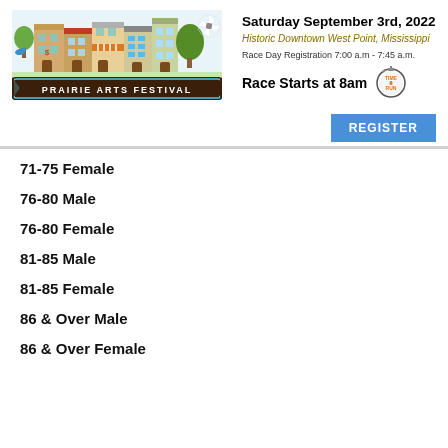[Figure (logo): Prairie Arts Festival logo with illustrated colorful town buildings and 'PRAIRIE ARTS FESTIVAL' text on a dark brown banner with blue border]
Saturday September 3rd, 2022
Historic Downtown West Point, Mississippi
Race Day Registration 7:00 a.m - 7:45 a.m.
Race Starts at 8am
[Figure (logo): Time 2 Run stopwatch logo]
REGISTER
71-75 Female
76-80 Male
76-80 Female
81-85 Male
81-85 Female
86 & Over Male
86 & Over Female